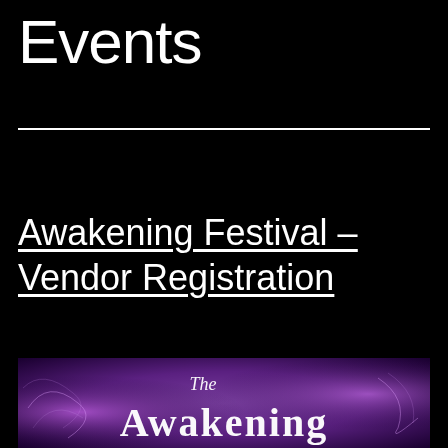Events
Awakening Festival – Vendor Registration
[Figure (photo): The Awakening festival promotional image with purple/magenta background and decorative script text reading 'The Awakening']